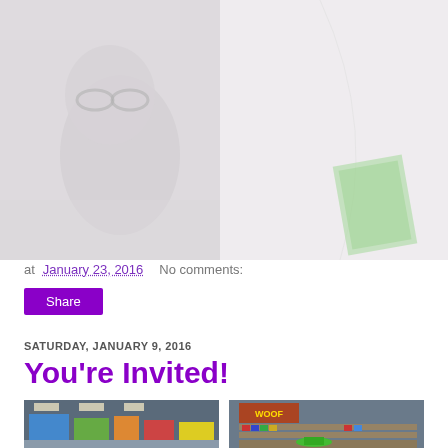[Figure (photo): Faded/washed-out photo of a person wearing glasses in what appears to be a library or bookstore, with a blurred colorful book display in the background]
at January 23, 2016   No comments:
Share
SATURDAY, JANUARY 9, 2016
You're Invited!
[Figure (photo): Two photos side by side of a children's bookstore or library book fair with colorful book displays, shelves of books, and a green circular table]